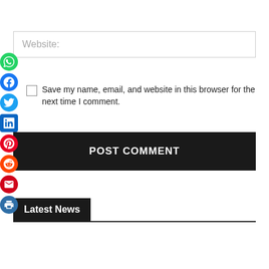Website:
Save my name, email, and website in this browser for the next time I comment.
POST COMMENT
Latest News
[Figure (other): Social media share icons on left sidebar: WhatsApp (green), Facebook (blue), Twitter (blue), LinkedIn (blue), Pinterest (red), Reddit (orange-red), Email (red envelope), Print (blue printer)]